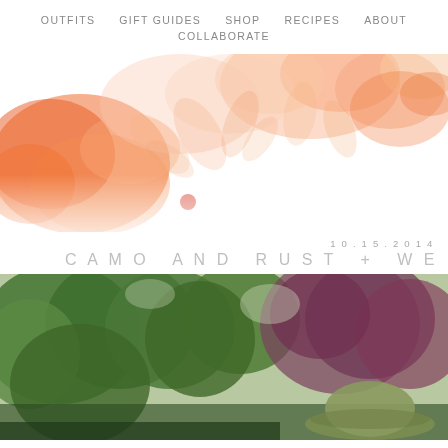OUTFITS   GIFT GUIDES   SHOP   RECIPES   ABOUT   COLLABORATE
[Figure (illustration): Watercolor floral banner with orange and peach flowers and leaves on white background, with a small coral circle/dot accent]
10.15.2014
CAMO AND RUST + WE
[Figure (photo): Person wearing an olive green bucket hat, photographed outdoors with lush green trees and reddish-purple foliage in the background]